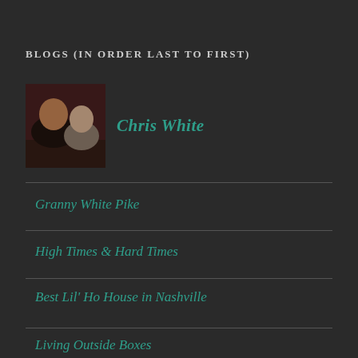BLOGS (IN ORDER LAST TO FIRST)
[Figure (photo): Profile photo of two people posing together in a dark indoor setting]
Chris White
Granny White Pike
High Times & Hard Times
Best Lil' Ho House in Nashville
Living Outside Boxes